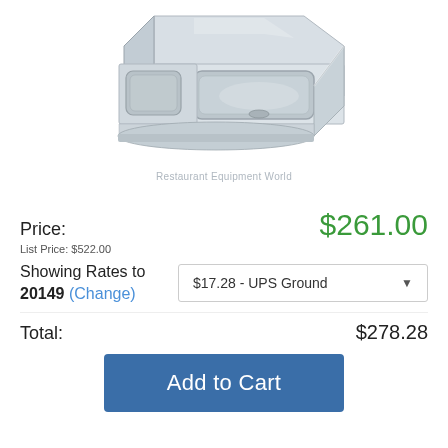[Figure (photo): Stainless steel commercial hand sink with backsplash, shown from an angled perspective view]
Restaurant Equipment World
Price:
$261.00
List Price: $522.00
Showing Rates to 20149 (Change)
$17.28 - UPS Ground
Total:
$278.28
Add to Cart